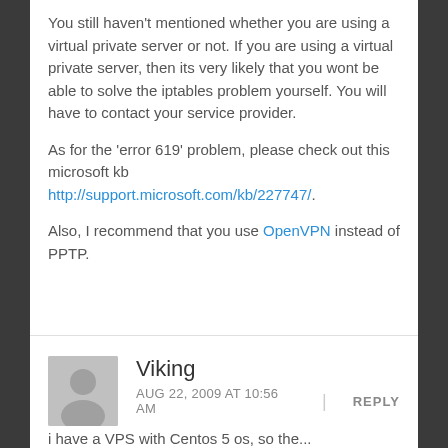You still haven't mentioned whether you are using a virtual private server or not. If you are using a virtual private server, then its very likely that you wont be able to solve the iptables problem yourself. You will have to contact your service provider.

As for the 'error 619' problem, please check out this microsoft kb http://support.microsoft.com/kb/227747/.

Also, I recommend that you use OpenVPN instead of PPTP.
Viking
AUG 22, 2009 AT 10:56 AM
REPLY
i have a VPS with Centos 5 os, so the...